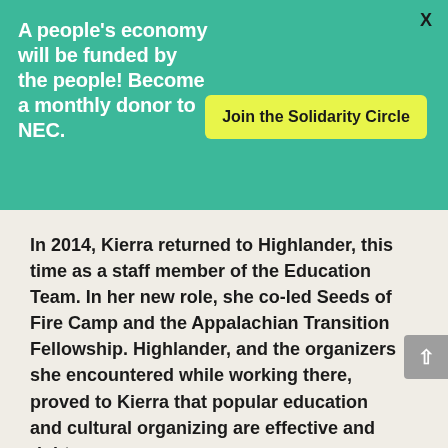A people's economy will be funded by the people! Become a monthly donor to NEC.
Join the Solidarity Circle
In 2014, Kierra returned to Highlander, this time as a staff member of the Education Team. In her new role, she co-led Seeds of Fire Camp and the Appalachian Transition Fellowship. Highlander, and the organizers she encountered while working there, proved to Kierra that popular education and cultural organizing are effective and righteous